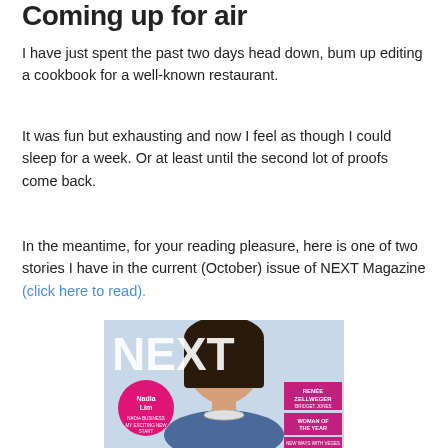Coming up for air
I have just spent the past two days head down, bum up editing a cookbook for a well-known restaurant.
It was fun but exhausting and now I feel as though I could sleep for a week. Or at least until the second lot of proofs come back.
In the meantime, for your reading pleasure, here is one of two stories I have in the current (October) issue of NEXT Magazine (click here to read).
[Figure (photo): Cover of NEXT Magazine featuring Nadia Lim and text about Renée Zellweger, Bridget Jones, Woman of the Year, and cooking with veges.]